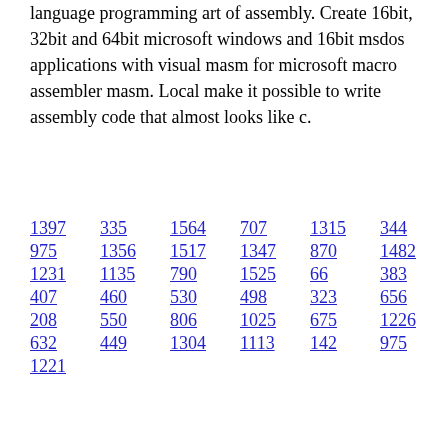language programming art of assembly. Create 16bit, 32bit and 64bit microsoft windows and 16bit msdos applications with visual masm for microsoft macro assembler masm. Local make it possible to write assembly code that almost looks like c.
1397 335 1564 707 1315 344 975 1356 1517 1347 870 1482 1231 1135 790 1525 66 383 407 460 530 498 323 656 465 208 550 806 1025 675 1226 632 449 1304 1113 142 975 1221